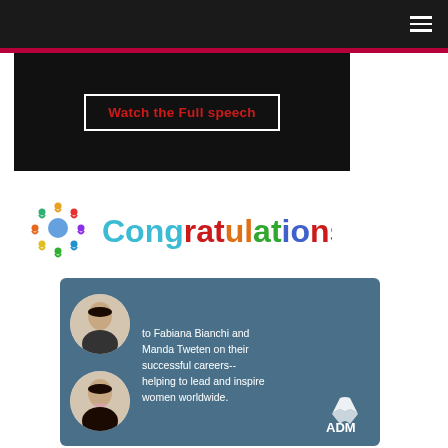Navigation bar with hamburger menu
[Figure (screenshot): Black video thumbnail area with a white-bordered button reading 'Watch the Full speech' in red text]
[Figure (logo): Colorful circular people logo followed by 'Congratulations!' text in multicolor gradient letters]
[Figure (infographic): ADM congratulations card on a steel-blue background with two circular portrait photos of women and text reading 'to Fabiana Bianchi and Manda Tweten on their successful careers-- helping to lead and inspire women worldwide.' with ADM logo at bottom right]